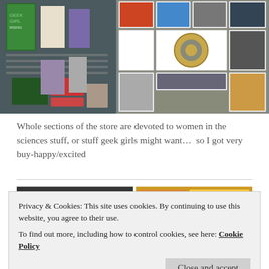[Figure (photo): Two side-by-side photos: left shows a store display with books and items on shelves including a 'Geek Girl' book; right shows a wall covered with framed posters and items including a large gear image.]
Whole sections of the store are devoted to women in the sciences stuff, or stuff geek girls might want…  so I got very buy-happy/excited
[Figure (photo): Bottom partial photos showing store interior scenes, partially obscured by cookie banner.]
Privacy & Cookies: This site uses cookies. By continuing to use this website, you agree to their use.
To find out more, including how to control cookies, see here: Cookie Policy